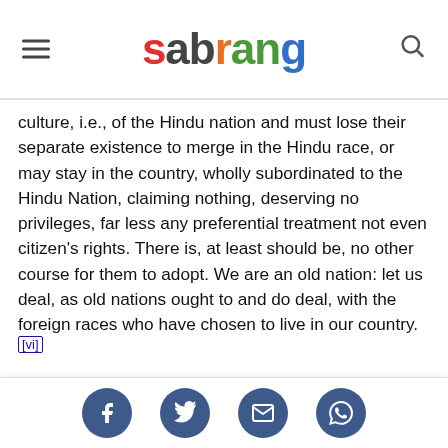sabrang
culture, i.e., of the Hindu nation and must lose their separate existence to merge in the Hindu race, or may stay in the country, wholly subordinated to the Hindu Nation, claiming nothing, deserving no privileges, far less any preferential treatment not even citizen's rights. There is, at least should be, no other course for them to adopt. We are an old nation: let us deal, as old nations ought to and do deal, with the foreign races who have chosen to live in our country.[vi]
When Hitler's armies were devastating neighbouring countries and cleansing Jews, it was Golwalkar who came forward unfalteringly in defence of 'ethnic